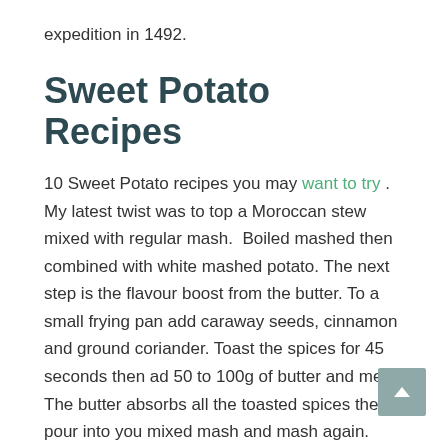expedition in 1492.
Sweet Potato Recipes
10 Sweet Potato recipes you may want to try . My latest twist was to top a Moroccan stew mixed with regular mash.  Boiled mashed then combined with white mashed potato. The next step is the flavour boost from the butter. To a small frying pan add caraway seeds, cinnamon and ground coriander. Toast the spices for 45 seconds then ad 50 to 100g of butter and melt. The butter absorbs all the toasted spices then pour into you mixed mash and mash again.  Taste then season very well with salt and pepper to re… bring out the flavours.